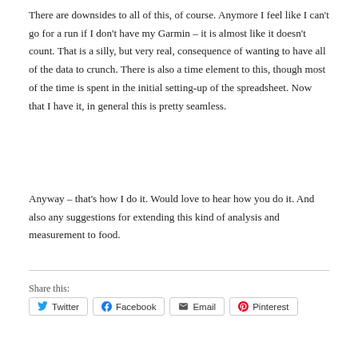There are downsides to all of this, of course. Anymore I feel like I can't go for a run if I don't have my Garmin – it is almost like it doesn't count. That is a silly, but very real, consequence of wanting to have all of the data to crunch. There is also a time element to this, though most of the time is spent in the initial setting-up of the spreadsheet. Now that I have it, in general this is pretty seamless.
Anyway – that's how I do it. Would love to hear how you do it. And also any suggestions for extending this kind of analysis and measurement to food.
Share this: